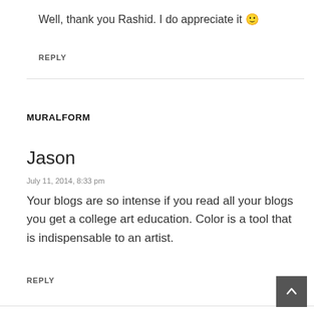Well, thank you Rashid. I do appreciate it 🙂
REPLY
MURALFORM
Jason
July 11, 2014, 8:33 pm
Your blogs are so intense if you read all your blogs you get a college art education. Color is a tool that is indispensable to an artist.
REPLY